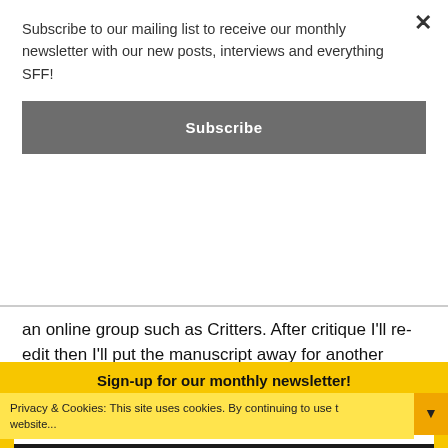Subscribe to our mailing list to receive our monthly newsletter with our new posts, interviews and everything SFF!
Subscribe
an online group such as Critters. After critique I'll re-edit then I'll put the manuscript away for another lengthy period, after which I'll re-edit and submit to a magazine and/or put the manuscript away again, and so on.
Do you recommend any particular book
Privacy & Cookies: This site uses cookies. By continuing to use t... ...website...
Sign-up for our monthly newsletter!
Your email address..
SUBSCRIBE